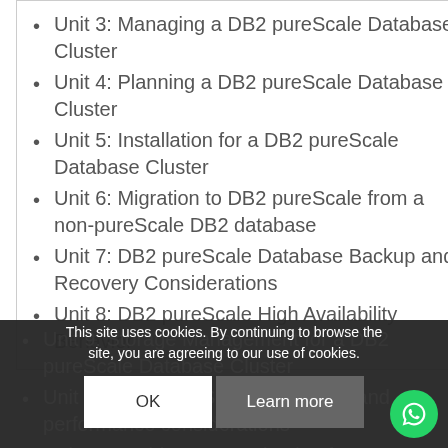Unit 3: Managing a DB2 pureScale Database Cluster
Unit 4: Planning a DB2 pureScale Database Cluster
Unit 5: Installation for a DB2 pureScale Database Cluster
Unit 6: Migration to DB2 pureScale from a non-pureScale DB2 database
Unit 7: DB2 pureScale Database Backup and Recovery Considerations
Unit 8: DB2 pureScale High Availability Behavior
Unit 9: Storage Management for a DB2 pureScale Database Cluster
Unit 10: DB2 pureScale monitoring and performance considerations
Unit 11: Problem Determination for a DB2
This site uses cookies. By continuing to browse the site, you are agreeing to our use of cookies.